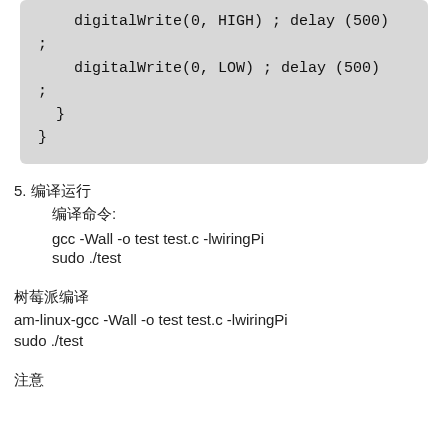[Figure (other): Code block showing: digitalWrite(0, LOW) ; delay (500); closing braces]
5. 编译运行
编译命令:
gcc -Wall -o test test.c -lwiringPi
sudo ./test
树莓派编译
am-linux-gcc -Wall -o test test.c -lwiringPi
sudo ./test
注意